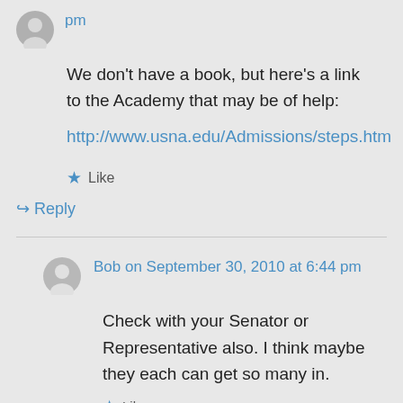pm
We don't have a book, but here's a link to the Academy that may be of help:
http://www.usna.edu/Admissions/steps.htm
Like
Reply
Bob on September 30, 2010 at 6:44 pm
Check with your Senator or Representative also. I think maybe they each can get so many in.